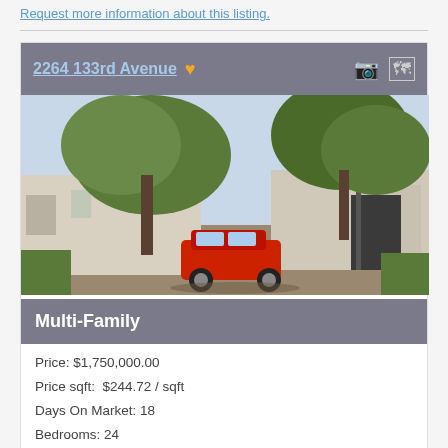Request more information about this listing.
[Figure (photo): Exterior photo of a multi-family residential property with large oak trees, white buildings, and a red SUV parked in the driveway.]
2264 133rd Avenue
Multi-Family
Price: $1,750,000.00
Price sqft:  $244.72 / sqft
Days On Market: 18
Bedrooms: 24